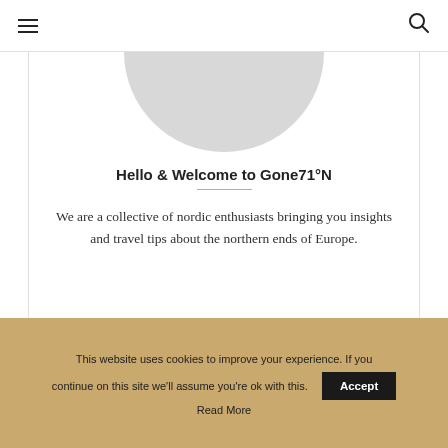≡   [search icon]
[Figure (illustration): Circular profile image, partially cropped at top, showing a grey/white circle]
Hello & Welcome to Gone71°N
We are a collective of nordic enthusiasts bringing you insights and travel tips about the northern ends of Europe.
This website uses cookies to improve your experience. If you continue on this site we'll assume you're ok with this.  Accept  Read More